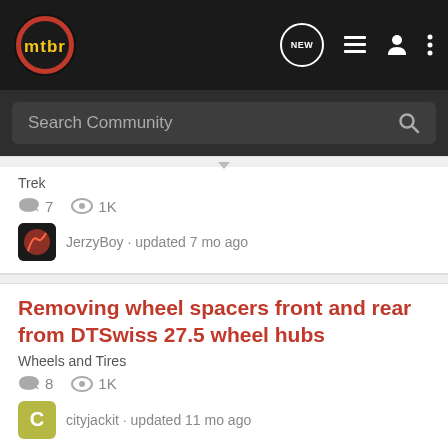mtbr navigation bar with search
Trek
7 comments · 1K views
JerzyBoy · updated 7 mo ago
Removing wheel spacers front and rear from DTSwiss 27.5 wheel hubs
Wheels and Tires
8 comments · 1K views
cityjackit · updated 11 mo ago
Sweet
THE NEW 2022 SILVERADO. Explore — Chevrolet